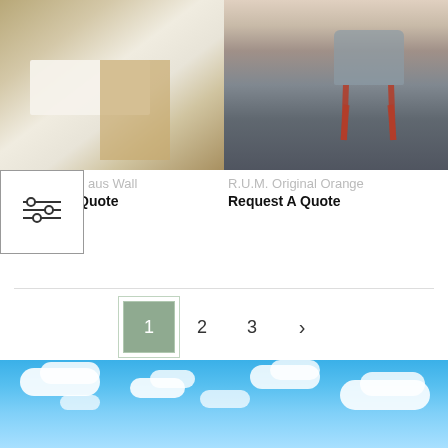[Figure (photo): Bedroom with wooden wall divider, white bedding, patterned rug, and stone tile floor]
[Figure (photo): Modern chair with grey seat and orange metal legs sitting on a rocky beach]
[Figure (schematic): Filter/adjustment icon with horizontal sliders]
aus Wall
Request A Quote
R.U.M. Original Orange
Request A Quote
1 2 3 >
[Figure (photo): Blue sky with white clouds]